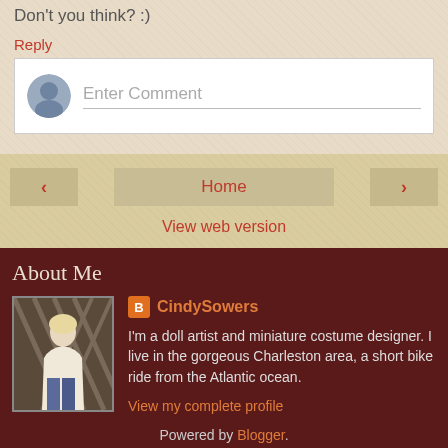Don't you think? :)
Reply
Enter Comment
Home
View web version
About Me
CindySowers
[Figure (photo): Profile photo of a blonde woman in a white top and jeans standing in front of a wooden lattice fence]
I'm a doll artist and miniature costume designer. I live in the gorgeous Charleston area, a short bike ride from the Atlantic ocean.
View my complete profile
Powered by Blogger.